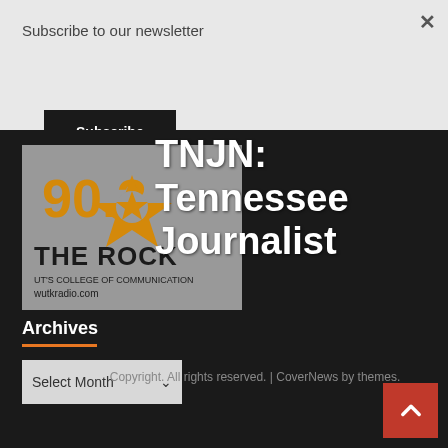Subscribe to our newsletter
Subscribe
[Figure (logo): 90.3 The Rock radio station logo — WUTK radio, UT's College of Communication, wutkradio.com, with Tennessee tri-star logo in gold]
TNJN: Tennessee Journalist
Archives
Select Month
Copyright. All rights reserved. | CoverNews by themes.